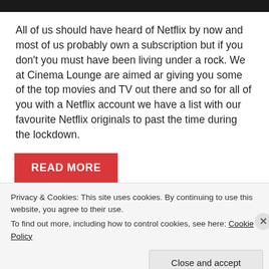All of us should have heard of Netflix by now and most of us probably own a subscription but if you don't you must have been living under a rock. We at Cinema Lounge are aimed ar giving you some of the top movies and TV out there and so for all of you with a Netflix account we have a list with our favourite Netflix originals to past the time during the lockdown.
READ MORE
Privacy & Cookies: This site uses cookies. By continuing to use this website, you agree to their use.
To find out more, including how to control cookies, see here: Cookie Policy
Close and accept